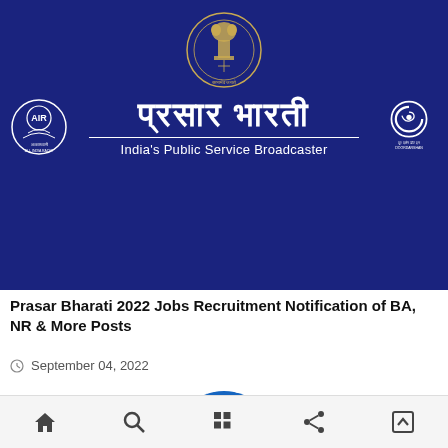[Figure (logo): Prasar Bharati banner with All India Radio logo, Ashoka emblem, Hindi text 'प्रसार भारती', 'India's Public Service Broadcaster' tagline, and Doordarshan logo on dark blue background]
Prasar Bharati 2022 Jobs Recruitment Notification of BA, NR & More Posts
September 04, 2022
[Figure (logo): DRDO circular logo partially visible at bottom of page]
Bottom navigation bar with home, search, grid, share, and scroll-up icons